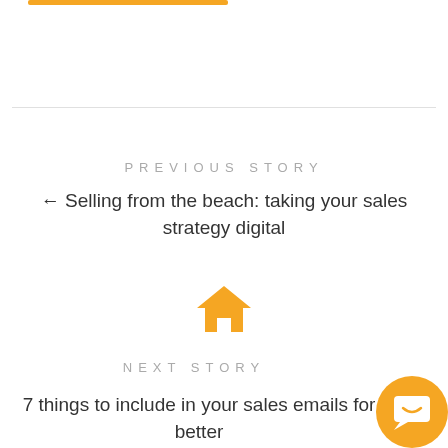[Figure (other): Orange horizontal bar at top left, decorative element]
PREVIOUS STORY
← Selling from the beach: taking your sales strategy digital
[Figure (illustration): Orange house/home icon]
NEXT STORY
7 things to include in your sales emails for better
[Figure (illustration): Orange circular chat/support button in bottom right corner with smile icon]